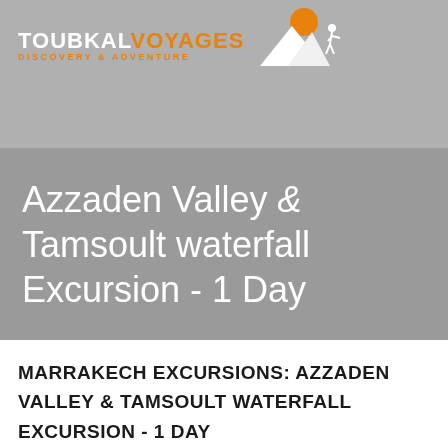[Figure (logo): Toubkal Voyages logo with mountain and adventurer silhouette icons, orange sun graphic. Text: TOUBKAL VOYAGES DISCOVERY & ADVENTURE]
Azzaden Valley & Tamsoult waterfall Excursion - 1 Day
MARRAKECH EXCURSIONS: AZZADEN VALLEY & TAMSOULT WATERFALL EXCURSION - 1 DAY